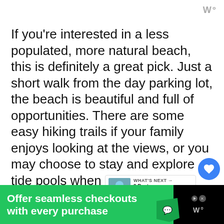W°
If you're interested in a less populated, more natural beach, this is definitely a great pick. Just a short walk from the day parking lot, the beach is beautiful and full of opportunities. There are some easy hiking trails if your family enjoys looking at the views, or you may choose to stay and explore tide pools when the tide is low.
This beach is great if you are just to relax, build sandcastles, and boogie bo...
[Figure (screenshot): WHAT'S NEXT arrow with '9 Best Beaches in...' thumbnail overlay]
[Figure (screenshot): Green advertisement banner: 'Offer seamless checkouts with every purchase']